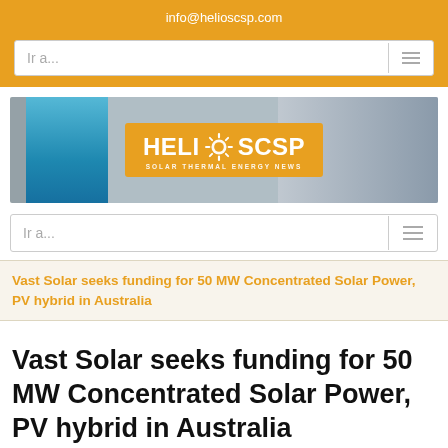info@helioscsp.com
[Figure (logo): HELIOSCSP Solar Thermal Energy News banner logo with orange background and sun icon]
Ir a...
Ir a...
Vast Solar seeks funding for 50 MW Concentrated Solar Power, PV hybrid in Australia
Vast Solar seeks funding for 50 MW Concentrated Solar Power, PV hybrid in Australia